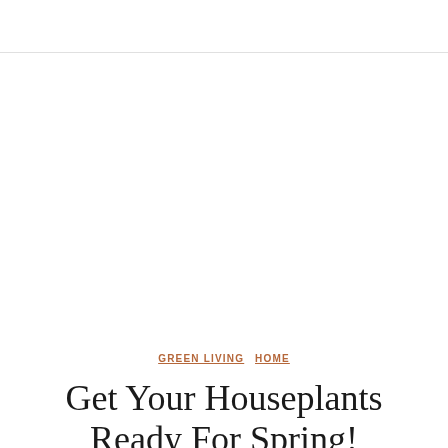GREEN LIVING  HOME
Get Your Houseplants Ready For Spring!